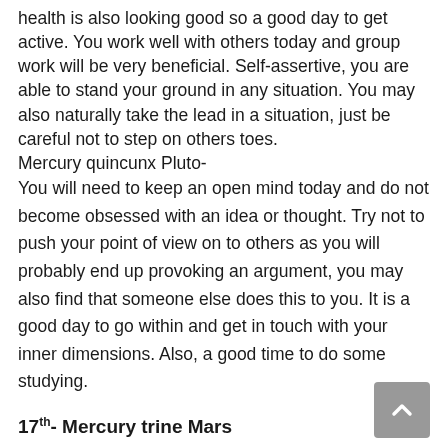health is also looking good so a good day to get active. You work well with others today and group work will be very beneficial. Self-assertive, you are able to stand your ground in any situation. You may also naturally take the lead in a situation, just be careful not to step on others toes.
Mercury quincunx Pluto-
You will need to keep an open mind today and do not become obsessed with an idea or thought. Try not to push your point of view on to others as you will probably end up provoking an argument, you may also find that someone else does this to you. It is a good day to go within and get in touch with your inner dimensions. Also, a good time to do some studying.
17th- Mercury trine Mars